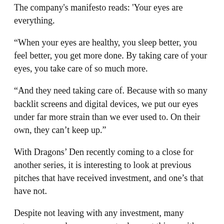The company's manifesto reads: 'Your eyes are everything.
“When your eyes are healthy, you sleep better, you feel better, you get more done. By taking care of your eyes, you take care of so much more.
“And they need taking care of. Because with so many backlit screens and digital devices, we put our eyes under far more strain than we ever used to. On their own, they can’t keep up.”
With Dragons’ Den recently coming to a close for another series, it is interesting to look at previous pitches that have received investment, and one’s that have not.
Despite not leaving with any investment, many entrepreneurs have gone on to do great things with their products.
For example, Tangle Teezer, a hairbrush company, is now worth £200million. Rob’s rejection has also been one of the